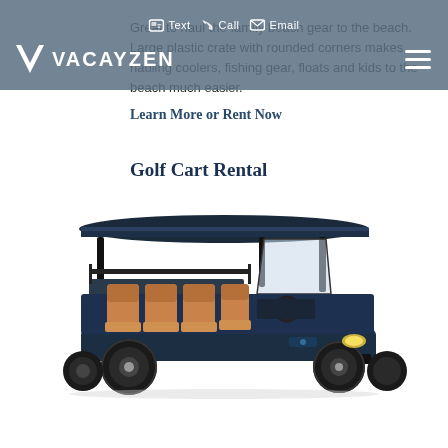Great to haul the family beach gear to the beach. Large plastic crate with rounded corners makes hauling coolers, fishing gear, floats and kids to the beach much easier.
Text | Call | Email | VACAYZEN [hamburger menu]
Learn More or Rent Now
Golf Cart Rental
[Figure (photo): A dark navy blue 6-passenger golf cart with tan/beige leather seats, a navy canopy roof, black frame, and large off-road tires, photographed on white background.]